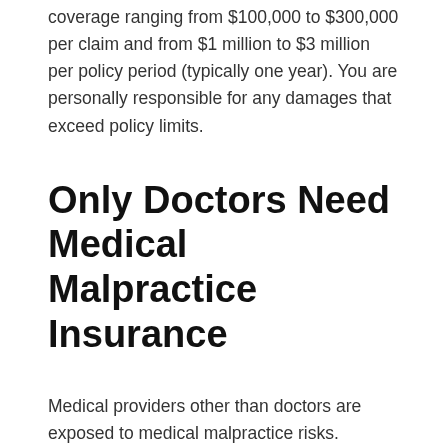coverage ranging from $100,000 to $300,000 per claim and from $1 million to $3 million per policy period (typically one year). You are personally responsible for any damages that exceed policy limits.
Only Doctors Need Medical Malpractice Insurance
Medical providers other than doctors are exposed to medical malpractice risks. Nurses, PAs, and other healthcare providers face liability exposure. Medical malpractice insurance can help protect a range of